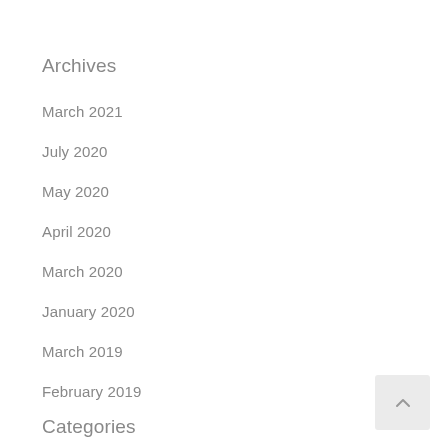Archives
March 2021
July 2020
May 2020
April 2020
March 2020
January 2020
March 2019
February 2019
Categories